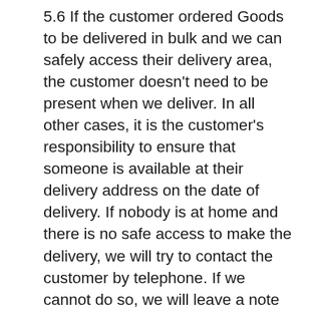5.6 If the customer ordered Goods to be delivered in bulk and we can safely access their delivery area, the customer doesn't need to be present when we deliver. In all other cases, it is the customer's responsibility to ensure that someone is available at their delivery address on the date of delivery. If nobody is at home and there is no safe access to make the delivery, we will try to contact the customer by telephone. If we cannot do so, we will leave a note to explain and will try to contact the customer to rearrange the delivery. If the delivery address the customer provides is incorrect and as a result their order is delivered to someone else, we cannot be responsible for any costs or inconvenience that the customer may incur as a result. If the customer's order is not delivered due to an error on the part of the